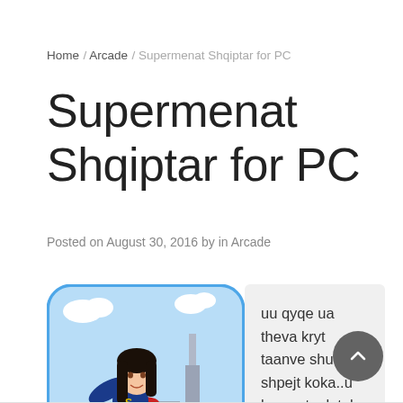Home / Arcade / Supermenat Shqiptar for PC
Supermenat Shqiptar for PC
Posted on August 30, 2016 by in Arcade
[Figure (illustration): Cartoon illustration of a female superhero flying over a city skyline, with dark hair and a red cape, comic book style, with rounded rectangle border in blue]
uu qyqe ua theva kryt taanve shume e shpejt koka..u knaqa taak tak kryt pi bon hahaha